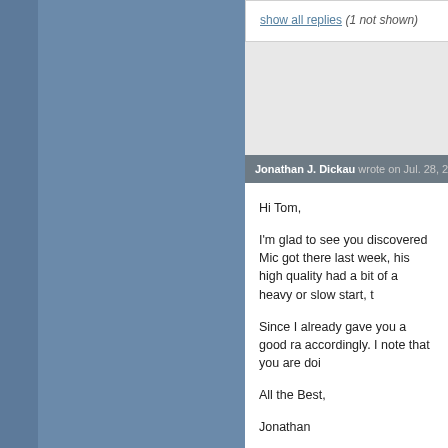show all replies (1 not shown)
Jonathan J. Dickau wrote on Jul. 28, 2013 @
Hi Tom,

I'm glad to see you discovered Mic got there last week, his high quality had a bit of a heavy or slow start, t

Since I already gave you a good ra accordingly. I note that you are doi

All the Best,

Jonathan
report post as inappropriate
Jonathan J. Dickau replied on Jul. 28,
should be..